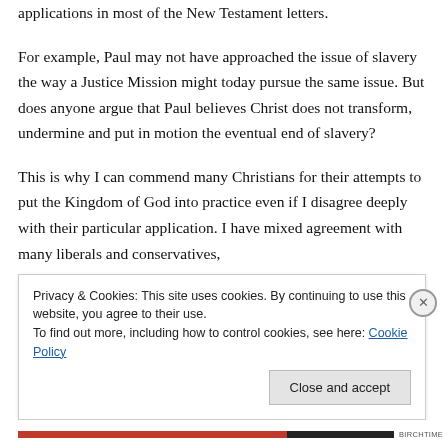applications in most of the New Testament letters.
For example, Paul may not have approached the issue of slavery the way a Justice Mission might today pursue the same issue. But does anyone argue that Paul believes Christ does not transform, undermine and put in motion the eventual end of slavery?
This is why I can commend many Christians for their attempts to put the Kingdom of God into practice even if I disagree deeply with their particular application. I have mixed agreement with many liberals and conservatives,
Privacy & Cookies: This site uses cookies. By continuing to use this website, you agree to their use.
To find out more, including how to control cookies, see here: Cookie Policy